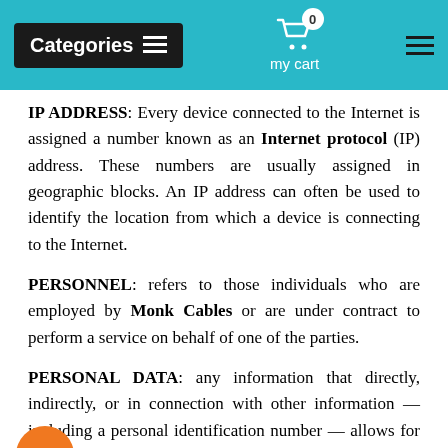Categories | my cart | [menu]
IP ADDRESS: Every device connected to the Internet is assigned a number known as an Internet protocol (IP) address. These numbers are usually assigned in geographic blocks. An IP address can often be used to identify the location from which a device is connecting to the Internet.
PERSONNEL: refers to those individuals who are employed by Monk Cables or are under contract to perform a service on behalf of one of the parties.
PERSONAL DATA: any information that directly, indirectly, or in connection with other information — including a personal identification number — allows for the identification or identifiability of a natural person.
SERVICE: refers to the service provided by Monk Cables as described in the relative terms (if available) and on this platform. Third-party service: refers to advertisers, contest sponsors, promotional and marketing partners, and others who provide our content or whose products or services we think may interest you.